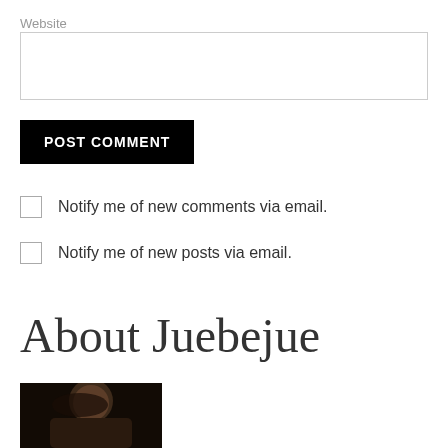Website
POST COMMENT
Notify me of new comments via email.
Notify me of new posts via email.
About Juebejue
[Figure (photo): Portrait photo of a person with dark hair]